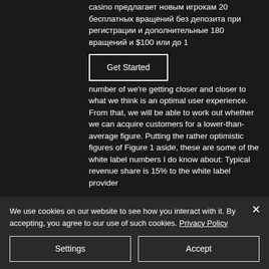casino предлагает новым игрокам 20 бесплатных вращений без депозита при регистрации и дополнительные 180 вращений и $100 или до 1
[Figure (other): Get Started button - rectangular outlined button with white border and white text on dark background]
number of we're getting closer and closer to what we think is an optimal user experience. From that, we will be able to work out whether we can acquire customers for a lower-than-average figure. Putting the rather optimistic figures of Figure 1 aside, these are some of the white label numbers I do know about: Typical revenue share is 15% to the white label provider
We use cookies on our website to see how you interact with it. By accepting, you agree to our use of such cookies. Privacy Policy
[Figure (other): Settings button - outlined rectangular button]
[Figure (other): Accept button - outlined rectangular button]